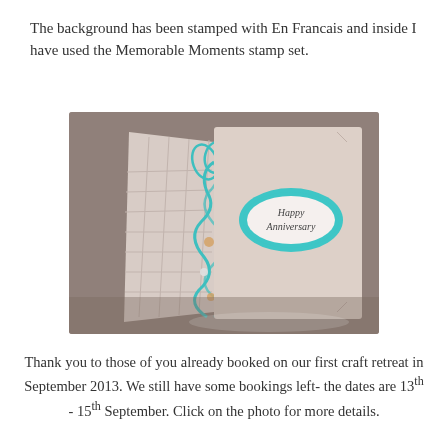The background has been stamped with En Francais and inside I have used the Memorable Moments stamp set.
[Figure (photo): A handmade anniversary card opened at an angle, showing a pink/cream card with teal ribbon decorations on the spine and a 'Happy Anniversary' oval label on the front panel.]
Thank you to those of you already booked on our first craft retreat in September 2013. We still have some bookings left- the dates are 13th - 15th September. Click on the photo for more details.